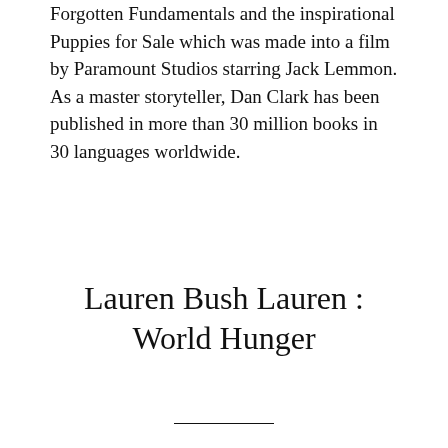Forgotten Fundamentals and the inspirational Puppies for Sale which was made into a film by Paramount Studios starring Jack Lemmon. As a master storyteller, Dan Clark has been published in more than 30 million books in 30 languages worldwide.
Lauren Bush Lauren : World Hunger